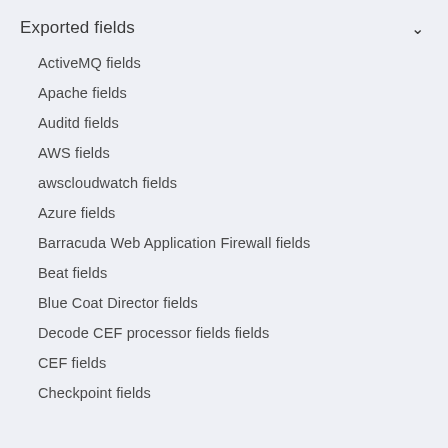Exported fields
ActiveMQ fields
Apache fields
Auditd fields
AWS fields
awscloudwatch fields
Azure fields
Barracuda Web Application Firewall fields
Beat fields
Blue Coat Director fields
Decode CEF processor fields fields
CEF fields
Checkpoint fields